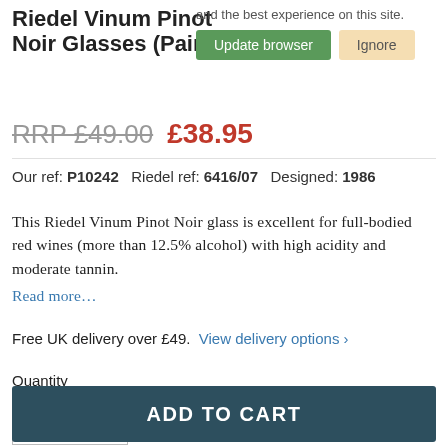Riedel Vinum Pinot Noir Glasses (Pair)
and the best experience on this site. Update browser Ignore
RRP £49.00  £38.95
Our ref: P10242  Riedel ref: 6416/07  Designed: 1986
This Riedel Vinum Pinot Noir glass is excellent for full-bodied red wines (more than 12.5% alcohol) with high acidity and moderate tannin.
Read more…
Free UK delivery over £49.  View delivery options ›
Quantity
1
ADD TO CART